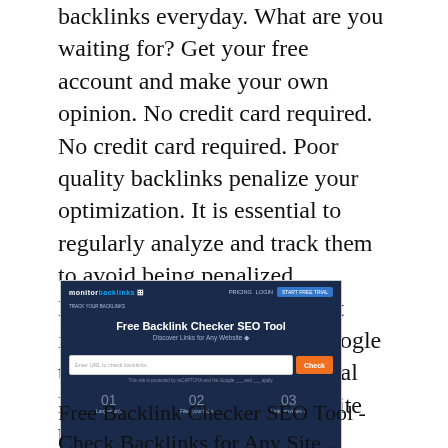backlinks everyday. What are you waiting for? Get your free account and make your own opinion. No credit card required. No credit card required. Poor quality backlinks penalize your optimization. It is essential to regularly analyze and track them to avoid being penalized. Backlinks are one of the most important factors in SEO. Google tracks and analyzes all external links pointing towards your site backlinks.
[Figure (screenshot): Screenshot of 'Free Backlink Checker SEO Tool - Discover Links for Any Website' page with a dark navy blue header, a URL input field, an orange Check button, and three feature icons at the bottom: 01 Largest link, 02 Filter your links, 03 Link previews.]
Free Backlink Checker SEO Tool - Check Backlinks for Any Site...